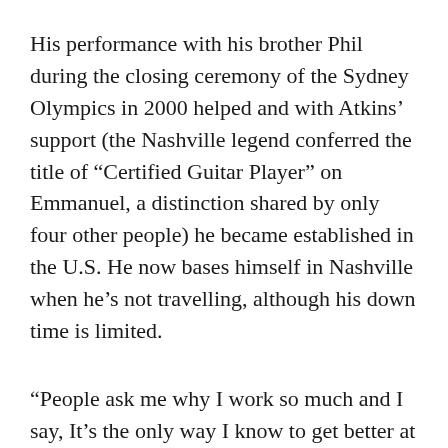His performance with his brother Phil during the closing ceremony of the Sydney Olympics in 2000 helped and with Atkins’ support (the Nashville legend conferred the title of “Certified Guitar Player” on Emmanuel, a distinction shared by only four other people) he became established in the U.S. He now bases himself in Nashville when he’s not travelling, although his down time is limited.
“People ask me why I work so much and I say, It’s the only way I know to get better at what I do,” says Emmanuel, who has just released a compilation of his work, The Guitar Mastery of Tommy Emmanuel. “And that’s true. I don’t want to do too many plate-spinning tricks but I do want to keep surprising people. So I go out there and try stuff like playing the guitar with a drummer’s brush and when I’m not